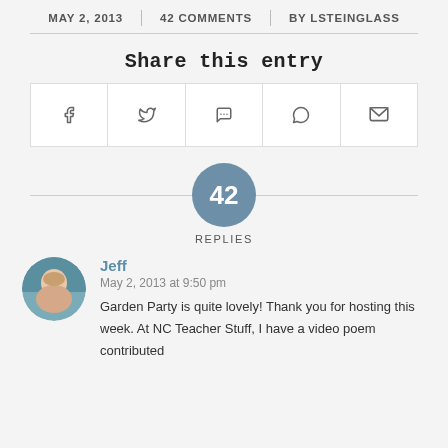MAY 2, 2013 | 42 COMMENTS | BY LSTEINGLASS
Share this entry
[Figure (infographic): Row of 5 social sharing icon buttons: Facebook (f), Twitter (bird), WhatsApp, Pinterest (p), Email (envelope)]
42 REPLIES
Jeff
May 2, 2013 at 9:50 pm
Garden Party is quite lovely! Thank you for hosting this week. At NC Teacher Stuff, I have a video poem contributed